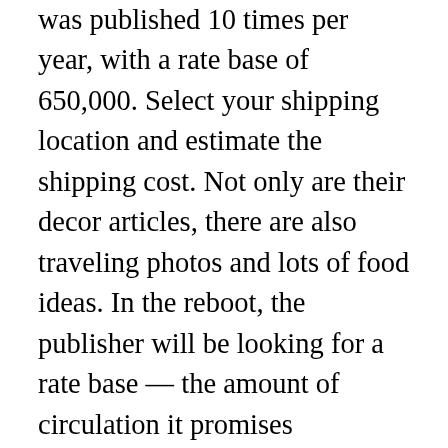was published 10 times per year, with a rate base of 650,000. Select your shipping location and estimate the shipping cost. Not only are their decor articles, there are also traveling photos and lots of food ideas. In the reboot, the publisher will be looking for a rate base — the amount of circulation it promises advertisers it will deliver each issue — of between 150,000 to 200,000, according to a spokeswoman. Under the newsstand-only model, which involved upgrades to the magazine's paper stock and trim size, the cover price has more than doubled, to $12.99, and subscriptions will be priced at $20 for four annual issues or $30 for a two-year